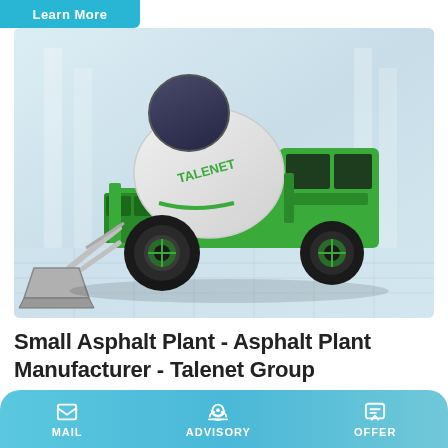[Figure (screenshot): Partial button at top left reading 'Learn More' in cyan/teal color]
[Figure (photo): A green and white Talenet brand self-loading concrete mixer truck with a large rotating drum, front-loading bucket, and large black tires, on a light industrial background]
Small Asphalt Plant - Asphalt Plant Manufacturer - Talenet Group
A small asphalt plant is highly portable and cost-effective, and
[Figure (infographic): Bottom navigation bar with three items: MAIL (envelope icon), ADVISORY (headset icon), OFFER (chat bubble icon), with teal gradient background]